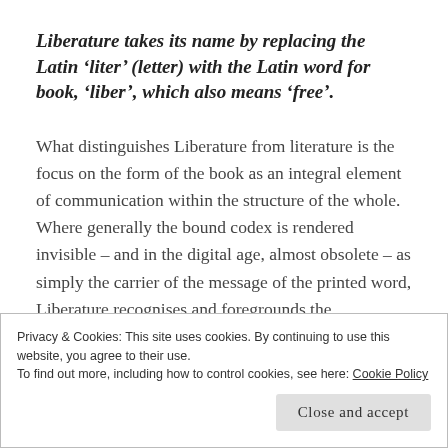Liberature takes its name by replacing the Latin 'liter' (letter) with the Latin word for book, 'liber', which also means 'free'.
What distinguishes Liberature from literature is the focus on the form of the book as an integral element of communication within the structure of the whole. Where generally the bound codex is rendered invisible – and in the digital age, almost obsolete – as simply the carrier of the message of the printed word, Liberature recognises and foregrounds the
Privacy & Cookies: This site uses cookies. By continuing to use this website, you agree to their use.
To find out more, including how to control cookies, see here: Cookie Policy
Close and accept